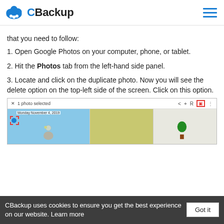[Figure (logo): CBackup logo with cloud icon and text]
that you need to follow:
1. Open Google Photos on your computer, phone, or tablet.
2. Hit the Photos tab from the left-hand side panel.
3. Locate and click on the duplicate photo. Now you will see the delete option on the top-left side of the screen. Click on this option.
[Figure (screenshot): Google Photos interface showing 1 photo selected with toolbar and three photo thumbnails]
CBackup uses cookies to ensure you get the best experience on our website. Learn more  Got it